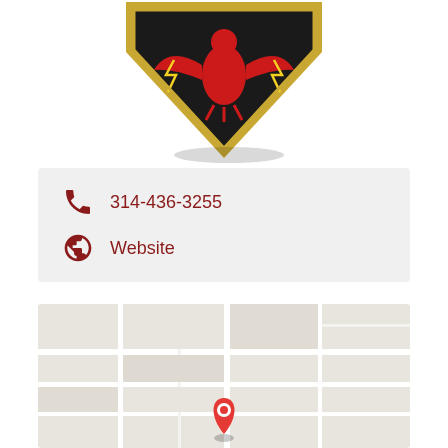[Figure (logo): Fire department badge/shield logo, dark background with red emblem, partially cropped at top of page]
314-436-3255
Website
[Figure (map): Google Maps style map with a red location pin marker in the center]